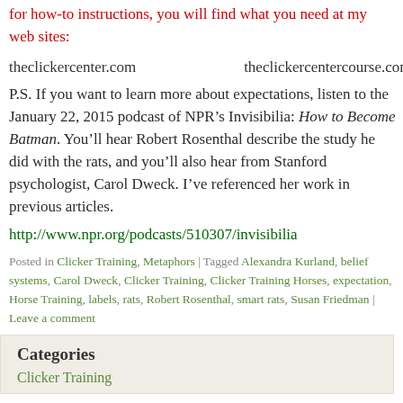for how-to instructions, you will find what you need at my web sites:
theclickercenter.com	theclickercentercourse.com
P.S. If you want to learn more about expectations, listen to the January 22, 2015 podcast of NPR’s Invisibilia: How to Become Batman.  You’ll hear Robert Rosenthal describe the study he did with the rats, and you’ll also hear from Stanford psychologist, Carol Dweck.  I’ve referenced her work in previous articles.
http://www.npr.org/podcasts/510307/invisibilia
Posted in Clicker Training, Metaphors | Tagged Alexandra Kurland, belief systems, Carol Dweck, Clicker Training, Clicker Training Horses, expectation, Horse Training, labels, rats, Robert Rosenthal, smart rats, Susan Friedman | Leave a comment
Categories
Clicker Training